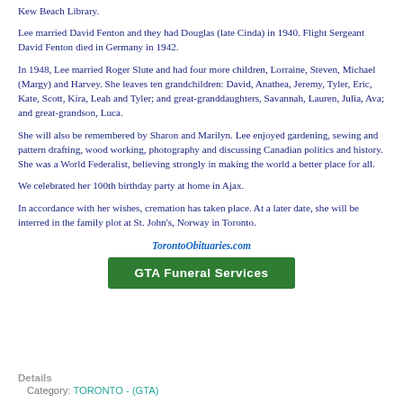Kew Beach Library.
Lee married David Fenton and they had Douglas (late Cinda) in 1940. Flight Sergeant David Fenton died in Germany in 1942.
In 1948, Lee married Roger Slute and had four more children, Lorraine, Steven, Michael (Margy) and Harvey. She leaves ten grandchildren: David, Anathea, Jeremy, Tyler, Eric, Kate, Scott, Kira, Leah and Tyler; and great-granddaughters, Savannah, Lauren, Julia, Ava; and great-grandson, Luca.
She will also be remembered by Sharon and Marilyn. Lee enjoyed gardening, sewing and pattern drafting, wood working, photography and discussing Canadian politics and history. She was a World Federalist, believing strongly in making the world a better place for all.
We celebrated her 100th birthday party at home in Ajax.
In accordance with her wishes, cremation has taken place. At a later date, she will be interred in the family plot at St. John's, Norway in Toronto.
TorontoObituaries.com
[Figure (other): GTA Funeral Services button/advertisement]
Details
Category: TORONTO - (GTA)